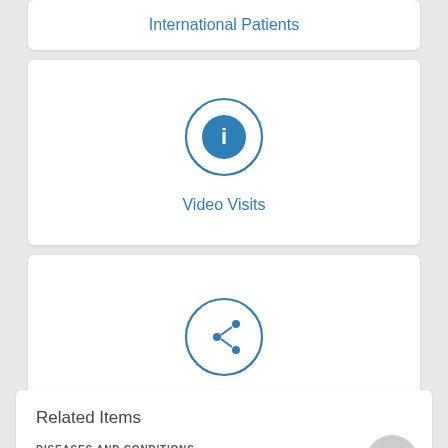International Patients
[Figure (illustration): Circle icon with letter i (information icon) in blue]
Video Visits
[Figure (illustration): Circle icon with share/network icon in blue]
Patient Stories
Related Items
DISEASES AND CONDITIONS
Firearms Safety